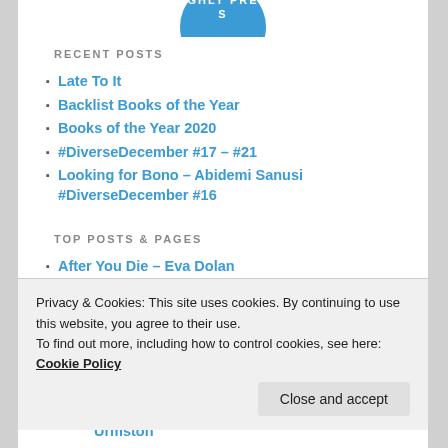[Figure (logo): Partial circular logo with text 'GHLY PRES' visible at top]
RECENT POSTS
Late To It
Backlist Books of the Year
Books of the Year 2020
#DiverseDecember #17 – #21
Looking for Bono – Abidemi Sanusi #DiverseDecember #16
TOP POSTS & PAGES
After You Die – Eva Dolan
The Girl of Ink and Stars – Kiran Millwood Hargrave
Privacy & Cookies: This site uses cookies. By continuing to use this website, you agree to their use. To find out more, including how to control cookies, see here: Cookie Policy
Jessie Burton (author of The Miniaturist) at Urmston